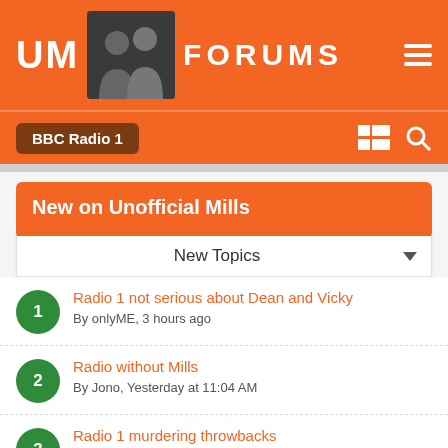UM FORUMS
BBC Radio 1
New on Unofficial Mills
New Topics
Radio 1 not serious about Dean and Vicky — By onlyME, 3 hours ago
Radio without Mills — By Jono, Yesterday at 11:04 AM
Radio 1 murdering throwbacks — By Aenfa, Saturday at 11:58 PM
Radio 1's Major Daytime Schedule Changes: One Year ... — By UnofficialStark, August 29
BBC Radio 1 beds 2009 2010 — By gusabig, August 28
Breakfast imaging refresh?